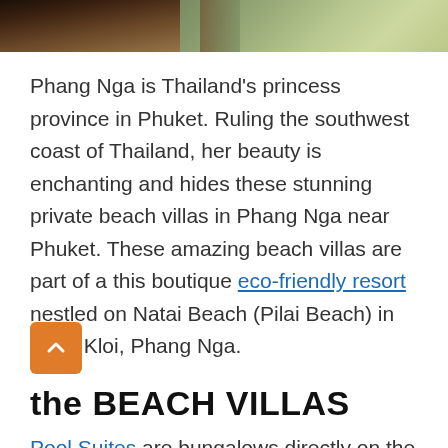[Figure (photo): Top strip of a photo showing what appears to be spa/wellness items, with dark wooden tray on left and green herbal elements on the right]
Phang Nga is Thailand's princess province in Phuket. Ruling the southwest coast of Thailand, her beauty is enchanting and hides these stunning private beach villas in Phang Nga near Phuket. These amazing beach villas are part of a this boutique eco-friendly resort nestled on Natai Beach (Pilai Beach) in Khok Kloi, Phang Nga.
the BEACH VILLAS
Pool Suites are bungalows directly on the